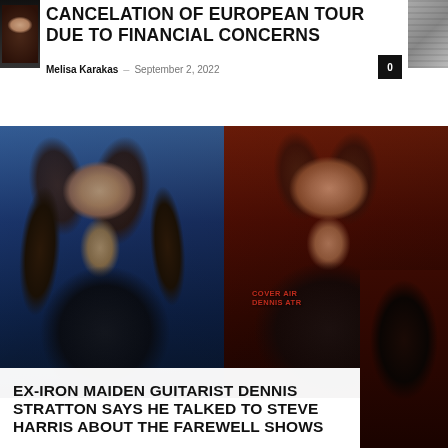CANCELATION OF EUROPEAN TOUR DUE TO FINANCIAL CONCERNS
Melisa Karakas · September 2, 2022
[Figure (photo): Two musicians performing on stage. Left: a male rock musician with long hair on a blue-lit stage. Right: a male musician wearing a black sleeveless shirt reading 'Cover Air Dennis Stra...' on a red-lit stage.]
EX-IRON MAIDEN GUITARIST DENNIS STRATTON SAYS HE TALKED TO STEVE HARRIS ABOUT THE FAREWELL SHOWS